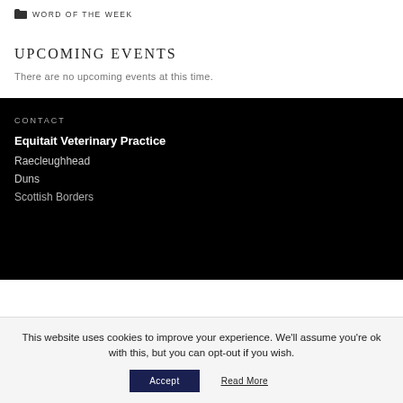WORD OF THE WEEK
UPCOMING EVENTS
There are no upcoming events at this time.
CONTACT
Equitait Veterinary Practice
Raecleughhead
Duns
Scottish Borders
This website uses cookies to improve your experience. We'll assume you're ok with this, but you can opt-out if you wish.